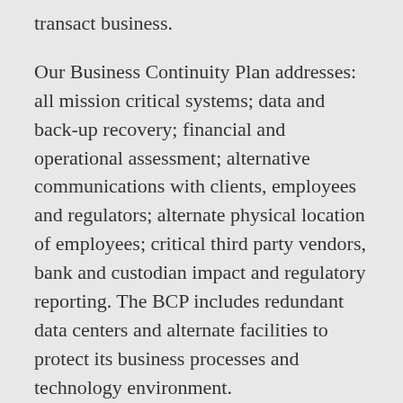transact business.
Our Business Continuity Plan addresses: all mission critical systems; data and back-up recovery; financial and operational assessment; alternative communications with clients, employees and regulators; alternate physical location of employees; critical third party vendors, bank and custodian impact and regulatory reporting. The BCP includes redundant data centers and alternate facilities to protect its business processes and technology environment.
Our plan anticipates two kinds of SBDs, internal and external. Internal SBDs affect only our firm’s ability to communicate and do business, such as a fire or power outage in our building. External SBDs prevent the operation of the securities markets or a number of